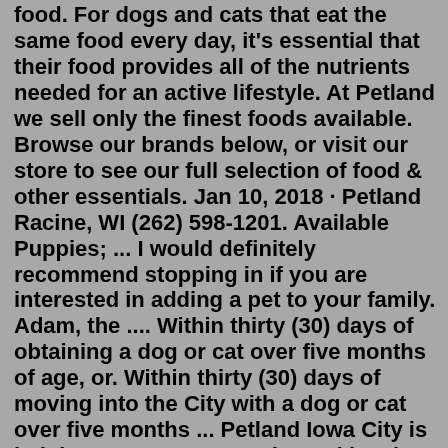food. For dogs and cats that eat the same food every day, it's essential that their food provides all of the nutrients needed for an active lifestyle. At Petland we sell only the finest foods available. Browse our brands below, or visit our store to see our full selection of food & other essentials. Jan 10, 2018 · Petland Racine, WI (262) 598-1201. Available Puppies; ... I would definitely recommend stopping in if you are interested in adding a pet to your family. Adam, the .... Within thirty (30) days of obtaining a dog or cat over five months of age, or. Within thirty (30) days of moving into the City with a dog or cat over five months ... Petland Iowa City is helping out our community and local shelters by taking in and adopting out unplanned litters of kittens. If you or someone you know is having trouble finding loving homes for a littler of kittens, stop by or give u a call at (319) 313-5190 for more information about our Kitten Program. Pet Types Breed GenderMost popular Petland locations: Map: Show Map: 1 Petland. 1347 Kildaire Farm Rd, Cary (919) 491-6614; 2 Petland. 1800 Tiffin